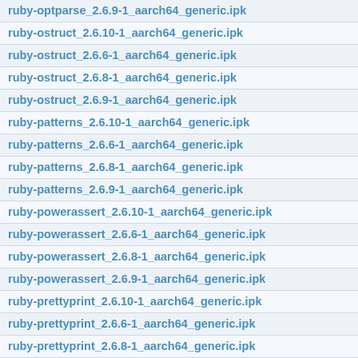ruby-optparse_2.6.9-1_aarch64_generic.ipk
ruby-ostruct_2.6.10-1_aarch64_generic.ipk
ruby-ostruct_2.6.6-1_aarch64_generic.ipk
ruby-ostruct_2.6.8-1_aarch64_generic.ipk
ruby-ostruct_2.6.9-1_aarch64_generic.ipk
ruby-patterns_2.6.10-1_aarch64_generic.ipk
ruby-patterns_2.6.6-1_aarch64_generic.ipk
ruby-patterns_2.6.8-1_aarch64_generic.ipk
ruby-patterns_2.6.9-1_aarch64_generic.ipk
ruby-powerassert_2.6.10-1_aarch64_generic.ipk
ruby-powerassert_2.6.6-1_aarch64_generic.ipk
ruby-powerassert_2.6.8-1_aarch64_generic.ipk
ruby-powerassert_2.6.9-1_aarch64_generic.ipk
ruby-prettyprint_2.6.10-1_aarch64_generic.ipk
ruby-prettyprint_2.6.6-1_aarch64_generic.ipk
ruby-prettyprint_2.6.8-1_aarch64_generic.ipk
ruby-prettyprint_2.6.9-1_aarch64_generic.ipk
ruby-prime_2.6.10-1_aarch64_generic.ipk
ruby-prime_2.6.6-1_aarch64_generic.ipk
ruby-prime_2.6.8-1_aarch64_generic.ipk
ruby-prime_2.6.9-1_aarch64_generic.ipk